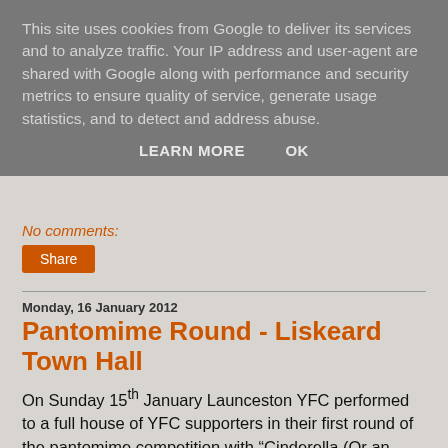This site uses cookies from Google to deliver its services and to analyze traffic. Your IP address and user-agent are shared with Google along with performance and security metrics to ensure quality of service, generate usage statistics, and to detect and address abuse.
LEARN MORE   OK
No comments:
Share
Monday, 16 January 2012
Pantomime Round - Liskeard Town Hall
On Sunday 15th January Launceston YFC performed to a full house of YFC supporters in their first round of the pantomime competition with “Cinderella (Or an Agricultural Fantasy)”. Everyone performed to their best ability with cast members pleased with their pantomime.